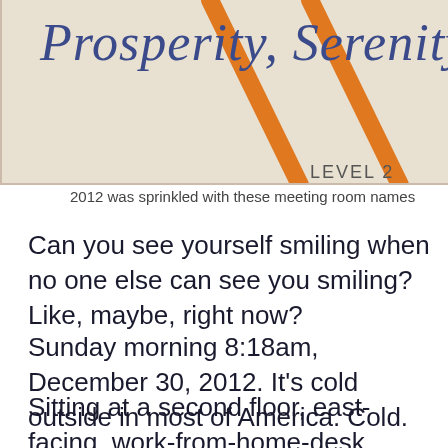[Figure (photo): Partial view of a sign with blue handwritten-style cursive text reading 'Prosperity, Serenity' on a light background, with two orange diagonal lines crossing the image. Bottom right shows partial text 'LEVEL 2'.]
2012 was sprinkled with these meeting room names
Can you see yourself smiling when no one else can see you smiling? Like, maybe, right now?
Sunday morning 8:18am, December 30, 2012. It's cold outside in most of America. Cold.
Sitting at a second floor, east-facing, work-from-home-desk, smiling. Bright. Man it's bright.